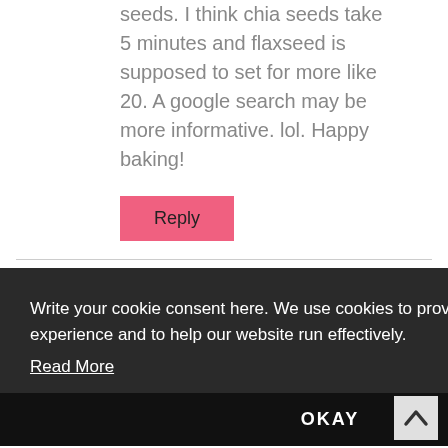seeds. I think chia seeds take 5 minutes and flaxseed is supposed to set for more like 20. A google search may be more informative. lol. Happy baking!
Reply
Emma (Sweet Tooth Runner) says:
February 9, 2011 at 1:24 pm
...in ... it looks ... ients soon and
Write your cookie consent here. We use cookies to provide you with a great experience and to help our website run effectively. Read More
OKAY
By the way, I love that it has more crust! Most